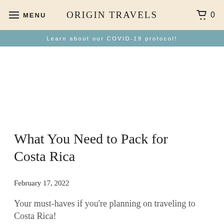MENU  ORIGIN TRAVELS  0
Learn about our COVID-19 protocol!
What You Need to Pack for Costa Rica
February 17, 2022
Your must-haves if you're planning on traveling to Costa Rica!